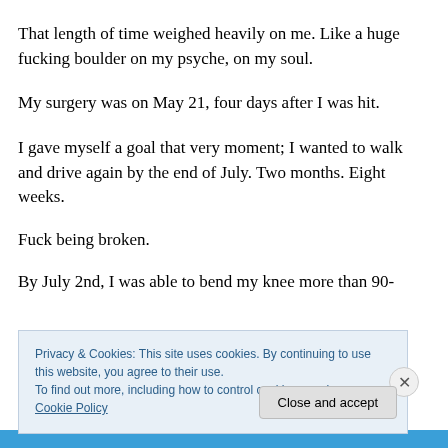That length of time weighed heavily on me. Like a huge fucking boulder on my psyche, on my soul.
My surgery was on May 21, four days after I was hit.
I gave myself a goal that very moment; I wanted to walk and drive again by the end of July. Two months. Eight weeks.
Fuck being broken.
By July 2nd, I was able to bend my knee more than 90-
Privacy & Cookies: This site uses cookies. By continuing to use this website, you agree to their use.
To find out more, including how to control cookies, see here: Cookie Policy
Close and accept